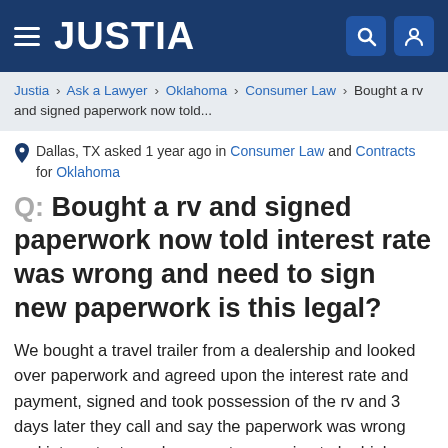JUSTIA
Justia > Ask a Lawyer > Oklahoma > Consumer Law > Bought a rv and signed paperwork now told...
Dallas, TX asked 1 year ago in Consumer Law and Contracts for Oklahoma
Q: Bought a rv and signed paperwork now told interest rate was wrong and need to sign new paperwork is this legal?
We bought a travel trailer from a dealership and looked over paperwork and agreed upon the interest rate and payment, signed and took possession of the rv and 3 days later they call and say the paperwork was wrong and interest rate and payments are going to be higher